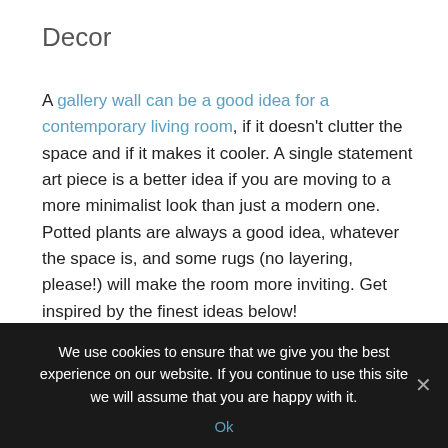Decor
A gallery wall can be a good idea for a contemporary living room, if it doesn't clutter the space and if it makes it cooler. A single statement art piece is a better idea if you are moving to a more minimalist look than just a modern one. Potted plants are always a good idea, whatever the space is, and some rugs (no layering, please!) will make the room more inviting. Get inspired by the finest ideas below!
[Figure (photo): A partially visible interior photo with a light gray/beige wall background and two small dots visible, suggesting a slideshow image viewer]
We use cookies to ensure that we give you the best experience on our website. If you continue to use this site we will assume that you are happy with it. Ok